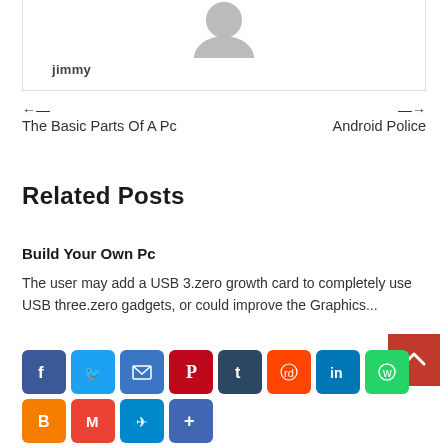[Figure (photo): Grey avatar/profile picture silhouette]
jimmy
← The Basic Parts Of A Pc
→ Android Police
Related Posts
Build Your Own Pc
The user may add a USB 3.zero growth card to completely use USB three.zero gadgets, or could improve the Graphics...
[Figure (infographic): Social media sharing icons: Facebook, Twitter, Email, Pinterest, Tumblr, Reddit, LinkedIn, WhatsApp, Blogger, Gmail, Telegram, Google+]